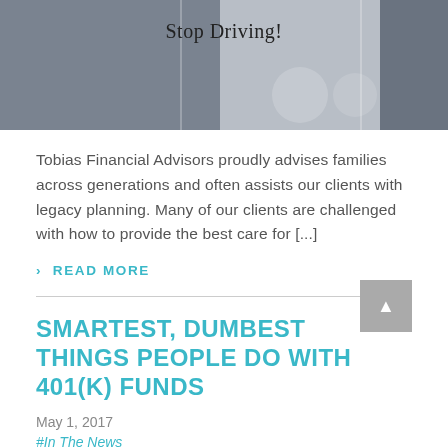[Figure (photo): Hero image showing a driver at a steering wheel with text overlay 'Stop Driving!']
Tobias Financial Advisors proudly advises families across generations and often assists our clients with legacy planning. Many of our clients are challenged with how to provide the best care for [...]
› READ MORE
SMARTEST, DUMBEST THINGS PEOPLE DO WITH 401(K) FUNDS
May 1, 2017
#In The News